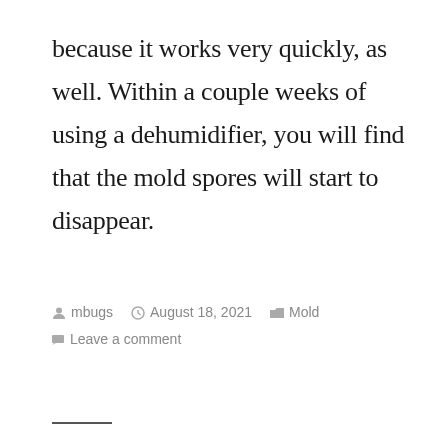because it works very quickly, as well. Within a couple weeks of using a dehumidifier, you will find that the mold spores will start to disappear.
mbugs  August 18, 2021  Mold  Leave a comment